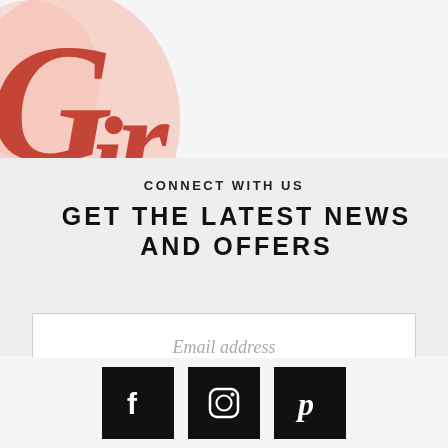[Figure (logo): Decorative script logo with red/pink lettering partially visible in top-left corner]
CONNECT WITH US
GET THE LATEST NEWS AND OFFERS
Email address
BE THE FIRST TO KNOW
[Figure (other): Social media icons for Facebook, Instagram, and Pinterest on black square backgrounds]